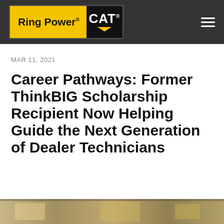Ring Power CAT
MAR 11, 2021
Career Pathways: Former ThinkBIG Scholarship Recipient Now Helping Guide the Next Generation of Dealer Technicians
[Figure (photo): Partial view of a photo at the bottom of the page showing what appears to be a workshop or industrial setting with yellow safety equipment visible]